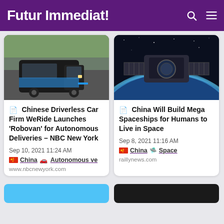Futur Immediat!
[Figure (photo): Dark autonomous delivery van (Robovan) driving on a road]
Chinese Driverless Car Firm WeRide Launches 'Robovan' for Autonomous Deliveries – NBC New York
Sep 10, 2021 11:24 AM
🇨🇳 China 🚗 Autonomous ve
www.nbcnewyork.com
[Figure (photo): Spacecraft or space station view with Earth's horizon in the background]
China Will Build Mega Spaceships for Humans to Live in Space
Sep 8, 2021 11:16 AM
🇨🇳 China 🛸 Space
raillynews.com